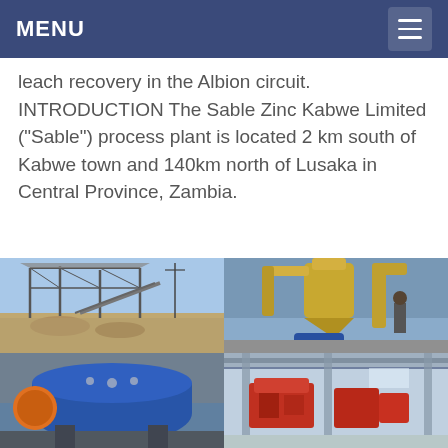MENU
leach recovery in the Albion circuit. INTRODUCTION The Sable Zinc Kabwe Limited ("Sable") process plant is located 2 km south of Kabwe town and 140km north of Lusaka in Central Province, Zambia.
[Figure (photo): Industrial plant with steel structure framework and conveyor belts at an open-air mining site]
[Figure (photo): Indoor industrial grinding/milling equipment with cyclone separator, yellow-tan colored machinery]
[Figure (photo): Large blue/orange ball mill drum equipment in industrial setting]
[Figure (photo): Indoor industrial facility with red equipment and structural beams]